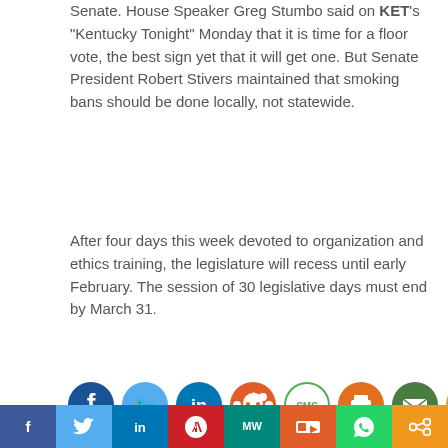Senate. House Speaker Greg Stumbo said on KET’s “Kentucky Tonight” Monday that it is time for a floor vote, the best sign yet that it will get one. But Senate President Robert Stivers maintained that smoking bans should be done locally, not statewide.
After four days this week devoted to organization and ethics training, the legislature will recess until early February. The session of 30 legislative days must end by March 31.
[Figure (infographic): Row of social media sharing icons: Facebook (dark blue), Twitter (light blue), LinkedIn (blue), Reddit (orange), SMS (green outline), Print (orange), Email (green), Share (orange)]
TAGS: cancer  foundations  General Assembly  legislation
[Figure (infographic): Bottom social sharing bar with icons for Facebook (dark blue), Twitter (light blue), LinkedIn (blue), Pinterest (red), MW (teal), Stumbleupon (orange-red), WhatsApp (green), Share (orange)]